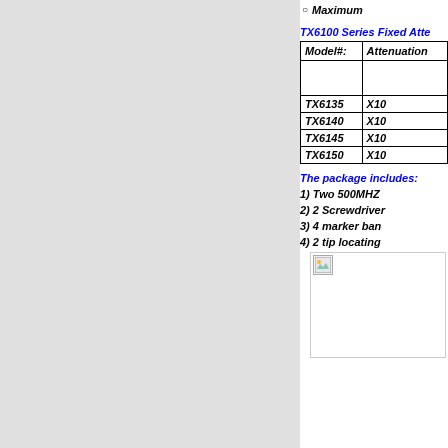Maximum
TX6100 Series Fixed Atte
| Model#: | Attenuation |
| --- | --- |
| TX6135 | X10 |
| TX6140 | X10 |
| TX6145 | X10 |
| TX6150 | X10 |
The package includes:
1) Two 500MHZ
2) 2 Screwdriver
3) 4 marker ban
4) 2 tip locating
[Figure (photo): Product image placeholder]